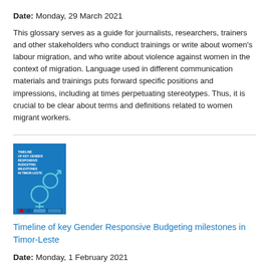Date: Monday, 29 March 2021
This glossary serves as a guide for journalists, researchers, trainers and other stakeholders who conduct trainings or write about women's labour migration, and who write about violence against women in the context of migration. Language used in different communication materials and trainings puts forward specific positions and impressions, including at times perpetuating stereotypes. Thus, it is crucial to be clear about terms and definitions related to women migrant workers.
[Figure (photo): Blue book cover titled 'Timeline of Key Gender Responsive Budgeting Milestones in Timor-Leste' with gender symbols illustration]
Timeline of key Gender Responsive Budgeting milestones in Timor-Leste
Date: Monday, 1 February 2021
This GRB Timeline showing the sequence of TL Government's effort with the line ministries, CSOs, private sectors, development